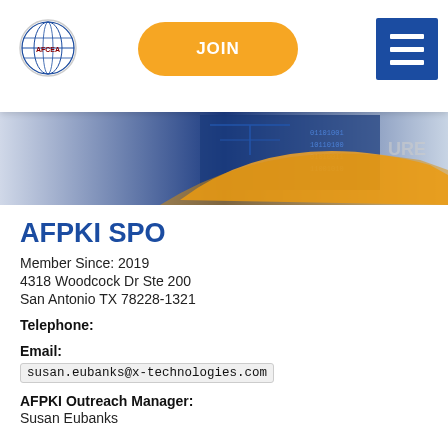[Figure (logo): AFCEA globe logo in top left of navigation bar]
JOIN
[Figure (illustration): Banner image with circuit board and binary pattern in blue and orange, partial view]
AFPKI SPO
Member Since: 2019
4318 Woodcock Dr Ste 200
San Antonio TX 78228-1321
Telephone:
Email:
susan.eubanks@x-technologies.com
AFPKI Outreach Manager:
Susan Eubanks